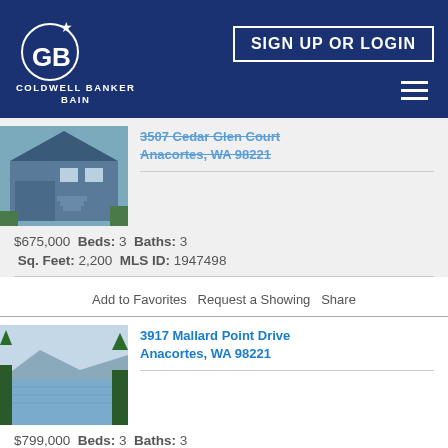[Figure (logo): Coldwell Banker Bain logo on dark navy header with SIGN UP OR LOGIN button]
3507 Cedar Glen Court
Anacortes, WA 98221
$675,000  Beds: 3  Baths: 3
Sq. Feet: 2,200  MLS ID: 1947498
Add to Favorites  Request a Showing  Share
3917 Mallard Point Drive
Anacortes, WA 98221
$799,000  Beds: 3  Baths: 3
Sq. Feet: 4,007  MLS ID: 1965460